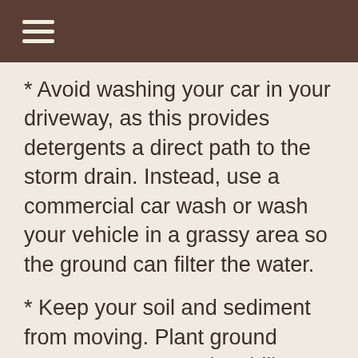≡
* Avoid washing your car in your driveway, as this provides detergents a direct path to the storm drain. Instead, use a commercial car wash or wash your vehicle in a grassy area so the ground can filter the water.
* Keep your soil and sediment from moving. Plant ground cover to protect and stabilize areas prone to erosion.
* Choose native plants for your landscapes, as these species need fewer chemical inputs and require less water.
* Cut down on your use of insecticides by providing habitat for pest-eating critters